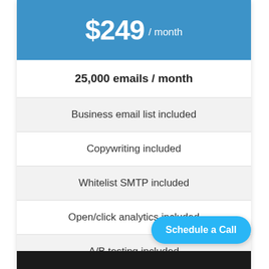$249 / month
25,000 emails / month
Business email list included
Copywriting included
Whitelist SMTP included
Open/click analytics included
A/B testing included
Drip automation included
Schedule a Call